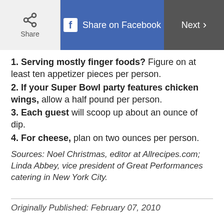Share | Share on Facebook | Next
1. Serving mostly finger foods? Figure on at least ten appetizer pieces per person.
2. If your Super Bowl party features chicken wings, allow a half pound per person.
3. Each guest will scoop up about an ounce of dip.
4. For cheese, plan on two ounces per person.
Sources: Noel Christmas, editor at Allrecipes.com; Linda Abbey, vice president of Great Performances catering in New York City.
Originally Published: February 07, 2010